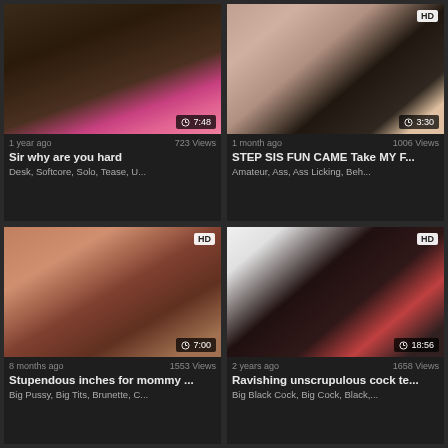[Figure (screenshot): Video thumbnail 1: classroom scene with woman in pink dress]
1 year ago   723 Views
Sir why are you hard
Desk,  Softcore,  Solo,  Tease,  U...
[Figure (screenshot): Video thumbnail 2: bedroom scene, HD badge, 3:30 duration]
1 month ago   1006 Views
STEP SIS FUN CAME Take MY F...
Amateur,  Ass,  Ass Licking,  Beh...
[Figure (screenshot): Video thumbnail 3: couch scene, HD badge, 7:00 duration]
8 months ago   1553 Views
Stupendous inches for mommy ...
Big Pussy,  Big Tits,  Brunette,  C...
[Figure (screenshot): Video thumbnail 4: dark scene, HD badge, 18:56 duration]
2 years ago   1658 Views
Ravishing unscrupulous cock te...
Big Black Cock,  Big Cock,  Black,...